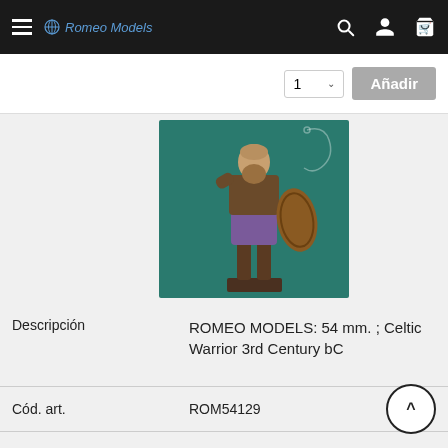Romeo Models
[Figure (screenshot): Add to cart row with quantity selector showing '1' and 'Añadir' button]
[Figure (photo): Painted miniature figurine of a Celtic Warrior 3rd Century bC, 54mm scale, holding a shield, wearing chainmail and purple tunic, standing on a dark base, against a teal/green background]
| Field | Value |
| --- | --- |
| Descripción | ROMEO MODELS: 54 mm. ; Celtic Warrior 3rd Century bC |
| Cód. art. | ROM54129 |
| MARCA | ROMEO MODELS |